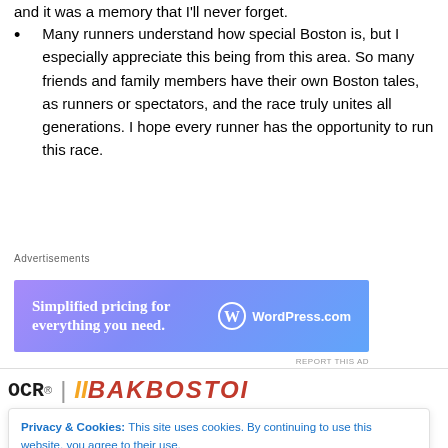and it was a memory that I'll never forget.
Many runners understand how special Boston is, but I especially appreciate this being from this area. So many friends and family members have their own Boston tales, as runners or spectators, and the race truly unites all generations. I hope every runner has the opportunity to run this race.
Advertisements
[Figure (other): WordPress.com advertisement banner with gradient blue-purple background. Text: 'Simplified pricing for everything you need.' with WordPress.com logo.]
REPORT THIS AD
[Figure (other): Partial banner showing OCR logo and BAKBOSTO text in red bold italic letters]
Privacy & Cookies: This site uses cookies. By continuing to use this website, you agree to their use. To find out more, including how to control cookies, see here: Cookie Policy
Close and accept